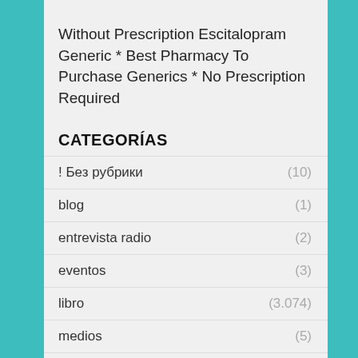Without Prescription Escitalopram Generic * Best Pharmacy To Purchase Generics * No Prescription Required
CATEGORÍAS
! Без рубрики (10)
blog (1)
entrevista radio (2)
eventos (3)
libro (3.074)
medios (5)
soledad (1)